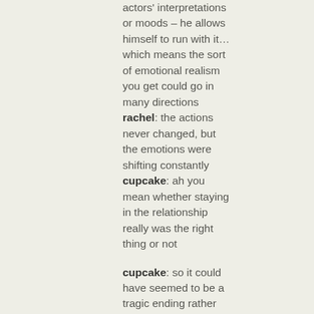actors' interpretations or moods – he allows himself to run with it…which means the sort of emotional realism you get could go in many directions
rachel: the actions never changed, but the emotions were shifting constantly
cupcake: ah you mean whether staying in the relationship really was the right thing or not
cupcake: so it could have seemed to be a tragic ending rather than an uplifting one, depending on the take
rachel: and I believe this is what makes his films so brilliant – his willingness to be open to those subtle shifts. he doesn't insist on a level of control I imagine a lot of other directors do